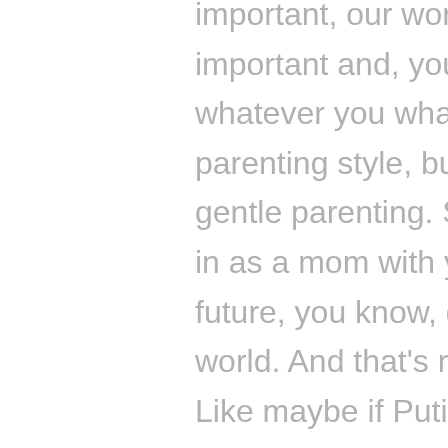important, our work was really valuable, really important and, you know, doing that work of whatever you whatever way you parent, your parenting style, but mine's probably more like gentle parenting. So, yeah, all that work you put in as a mom with your kids is you're bringing the future, you know, generation of people into this world. And that's really, really important. evety Like maybe if Putin did a bit of art like right, maybe I bet he was stifled every now. He wasn't even allowed to get out. Or